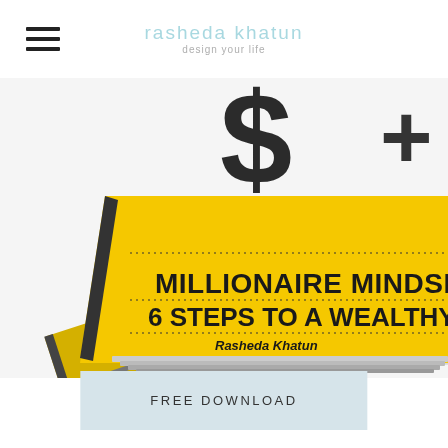rasheda khatun — design your life
[Figure (photo): Stack of books titled 'Millionaire Mindset: 6 Steps to a Wealthy Life' by Rasheda Khatun, with yellow cover featuring a dollar sign and plus symbol, shown in perspective view]
FREE DOWNLOAD